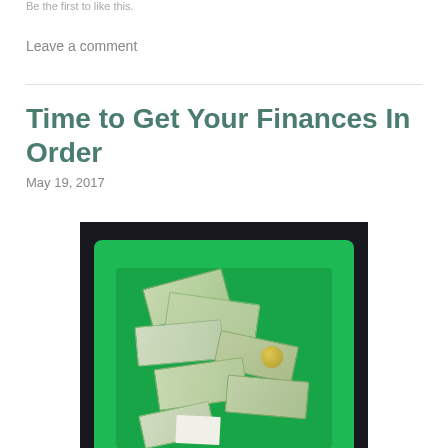Be the first to like this.
Leave a comment
Time to Get Your Finances In Order
May 19, 2017
[Figure (photo): Green wallet/clutch purse open and overflowing with US dollar bills and cash, photographed from above on a dark background.]